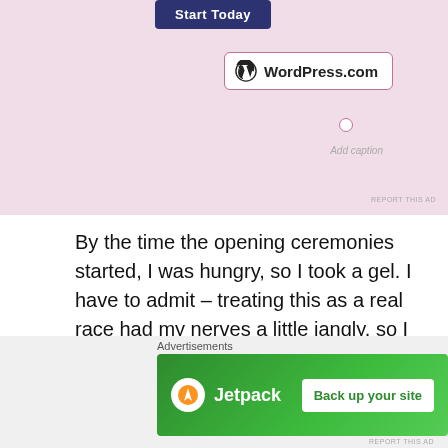[Figure (screenshot): Top advertisement area with pink background showing a 'Start Today' dark blue button, a WordPress.com badge with logo, an 'Add caption' label, and connection circle indicators]
By the time the opening ceremonies started, I was hungry, so I took a gel. I have to admit – treating this as a real race had my nerves a little jangly, so I had to kind of rely on muscle memory to remember how to prep. I've run a few little fun runs since the NYC Marathon last year, but not for time. So wanting to do this right had me a little rattled.
But all those nerves were for nothing, because it was a
Advertisements
[Figure (screenshot): Green Jetpack advertisement banner with Jetpack logo on left and 'Back up your site' white button on right]